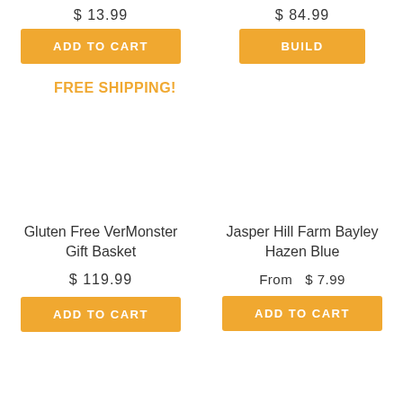$ 13.99
ADD TO CART
$ 84.99
BUILD
FREE SHIPPING!
Gluten Free VerMonster Gift Basket
$ 119.99
ADD TO CART
Jasper Hill Farm Bayley Hazen Blue
From  $ 7.99
ADD TO CART